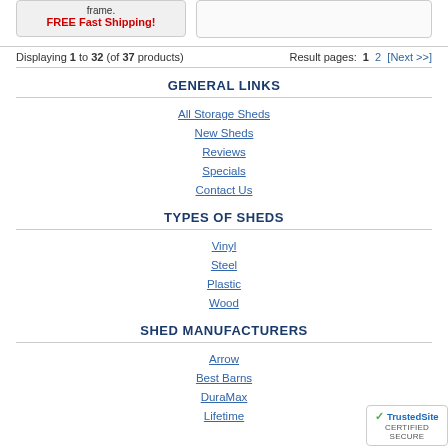frame. FREE Fast Shipping!
Displaying 1 to 32 (of 37 products)   Result pages: 1  2  [Next >>]
GENERAL LINKS
All Storage Sheds
New Sheds
Reviews
Specials
Contact Us
TYPES OF SHEDS
Vinyl
Steel
Plastic
Wood
SHED MANUFACTURERS
Arrow
Best Barns
DuraMax
Lifetime
[Figure (logo): TrustedSite CERTIFIED SECURE badge]